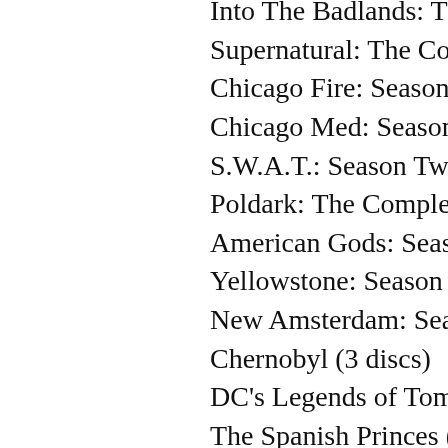Into The Badlands: The Complete...
Supernatural: The Complete Fo...
Chicago Fire: Season Seven (6 d...
Chicago Med: Season Four (6 di...
S.W.A.T.: Season Two (5 discs)
Poldark: The Complete Fifth Sea...
American Gods: Season Two (3...
Yellowstone: Season Two (4 disc...
New Amsterdam: Season One (6...
Chernobyl (3 discs)
DC's Legends of Tomorrow: The...
The Spanish Princes (2 discs)
The Boys: Season One (3 discs)
Orange Is The New Black: The F...
The Handmaid's Tale: Season Th...
Strike Back: Cinemax Season Si...
Tales from the Crypt: The Compl...
The Good Place: Season Three...
Marvel's Agents of S.H.I.E.L.D.: T...
All Creatures Great & Small (28...
Looney Tunes Golden Collection...
Titans: The Complete First Seas...
Criminal Minds: The Fourteenth...
True Detective: Season 3 (3 disc...
Gotham: The Complete Fifth Sea...
The Magicians: Season Four (4...
NCIS: Los Angeles: The Tenth S...
Chicago P.D.: Season Six (5 disc...